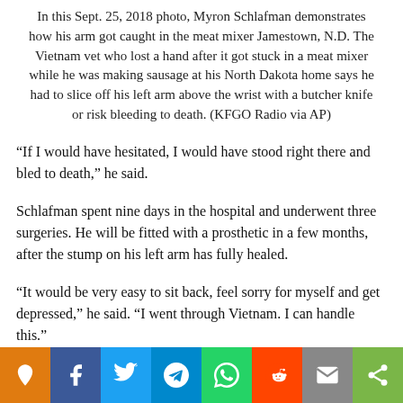In this Sept. 25, 2018 photo, Myron Schlafman demonstrates how his arm got caught in the meat mixer Jamestown, N.D. The Vietnam vet who lost a hand after it got stuck in a meat mixer while he was making sausage at his North Dakota home says he had to slice off his left arm above the wrist with a butcher knife or risk bleeding to death. (KFGO Radio via AP)
“If I would have hesitated, I would have stood right there and bled to death,” he said.
Schlafman spent nine days in the hospital and underwent three surgeries. He will be fitted with a prosthetic in a few months, after the stump on his left arm has fully healed.
“It would be very easy to sit back, feel sorry for myself and get depressed,” he said. “I went through Vietnam. I can handle this.”
[Figure (infographic): Social media share bar with icons: orange location/pin icon, Facebook (blue), Twitter (sky blue), Telegram (teal), WhatsApp (green), Reddit (red-orange), Email (gray), Share (lime green)]